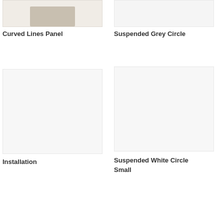[Figure (photo): Curved Lines Panel product photo - beige/tan textured panel, partially cropped at top]
Curved Lines Panel
[Figure (photo): Suspended Grey Circle product photo - light grey background, mostly empty]
Suspended Grey Circle
[Figure (photo): Installation photo - light grey/white background, nearly empty]
Installation
[Figure (photo): Suspended White Circle Small product photo - light grey/white background, nearly empty]
Suspended White Circle Small